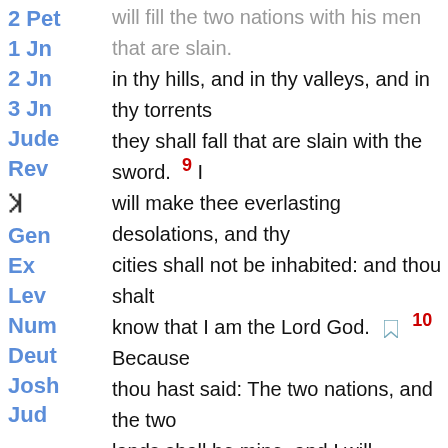2 Pet
1 Jn
2 Jn
3 Jn
Jude
Rev
Ꝑ (special symbol)
Gen
Ex
Lev
Num
Deut
Josh
in thy hills, and in thy valleys, and in thy torrents they shall fall that are slain with the sword. 9 I will make thee everlasting desolations, and thy cities shall not be inhabited: and thou shalt know that I am the Lord God. [bookmark] 10 Because thou hast said: The two nations, and the two lands shall be mine, and I will possess them by inheritance: whereas the Lord was there. [bookmark] 11 Therefore as I live, saith the Lord God, I will do according to thy wrath, and according to thy envy, which thou hast exercised in hatred to them: and I will be made known by them, when I shall have judged thee. [bookmark] 12 And thou shalt